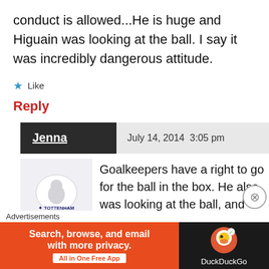conduct is allowed...He is huge and Higuain was looking at the ball. I say it was incredibly dangerous attitude.
★ Like
Reply
Jenna   July 14, 2014 3:05 pm
[Figure (logo): Tottenham Hotspur club crest logo on light gray background]
Goalkeepers have a right to go for the ball in the box. He also was looking at the ball, and in fact punched the ball away right
Advertisements
[Figure (infographic): DuckDuckGo advertisement banner: orange left section reads 'Search, browse, and email with more privacy. All in One Free App'; dark right section shows DuckDuckGo logo]